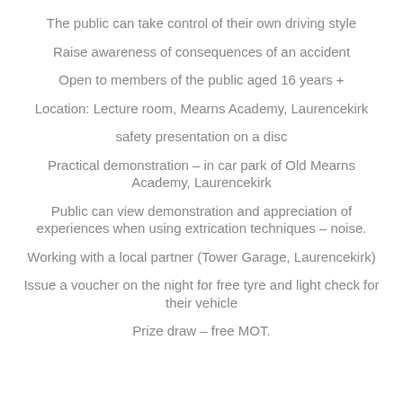The public can take control of their own driving style
Raise awareness of consequences of an accident
Open to members of the public aged 16 years +
Location: Lecture room, Mearns Academy, Laurencekirk
safety presentation on a disc
Practical demonstration – in car park of Old Mearns Academy, Laurencekirk
Public can view demonstration and appreciation of experiences when using extrication techniques – noise.
Working with a local partner (Tower Garage, Laurencekirk)
Issue a voucher on the night for free tyre and light check for their vehicle
Prize draw – free MOT.